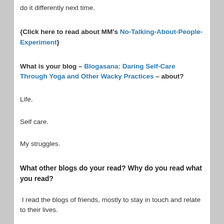do it differently next time.
{Click here to read about MM's No-Talking-About-People-Experiment}
What is your blog – Blogasana: Daring Self-Care Through Yoga and Other Wacky Practices – about?
Life.
Self care.
My struggles.
What other blogs do your read? Why do you read what you read?
I read the blogs of friends, mostly to stay in touch and relate to their lives.
I've stopped reading people I don't have some kind of